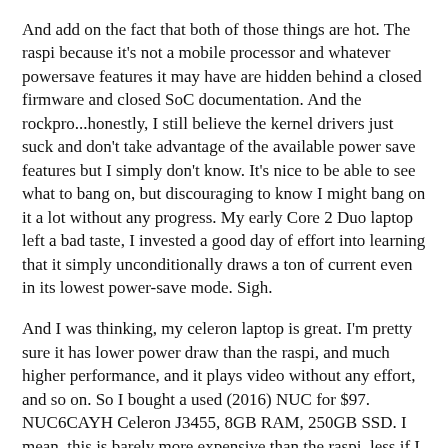And add on the fact that both of those things are hot. The raspi because it's not a mobile processor and whatever powersave features it may have are hidden behind a closed firmware and closed SoC documentation. And the rockpro...honestly, I still believe the kernel drivers just suck and don't take advantage of the available power save features but I simply don't know. It's nice to be able to see what to bang on, but discouraging to know I might bang on it a lot without any progress. My early Core 2 Duo laptop left a bad taste, I invested a good day of effort into learning that it simply unconditionally draws a ton of current even in its lowest power-save mode. Sigh.
And I was thinking, my celeron laptop is great. I'm pretty sure it has lower power draw than the raspi, and much higher performance, and it plays video without any effort, and so on. So I bought a used (2016) NUC for $97. NUC6CAYH Celeron J3455, 8GB RAM, 250GB SSD. I mean, this is barely more expensive than the raspi, less if I count the $32 I spent on SSD.
Anyways, quick review. I *hate* Intel Visual BIOS. There are features (like boot order selection) that only work with a mouse! It has laggy animations, and an awful keyboard visit order. Certain uninteresting options crash it. It is bad. It is very bad.
The NUC sends an HDMI CEC ActiveSource 1 when it turns on